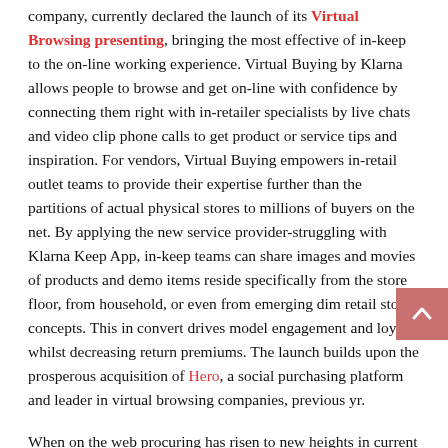company, currently declared the launch of its Virtual Browsing presenting, bringing the most effective of in-keep to the on-line working experience. Virtual Buying by Klarna allows people to browse and get on-line with confidence by connecting them right with in-retailer specialists by live chats and video clip phone calls to get product or service tips and inspiration. For vendors, Virtual Buying empowers in-retail outlet teams to provide their expertise further than the partitions of actual physical stores to millions of buyers on the net. By applying the new service provider-struggling with Klarna Keep App, in-keep teams can share images and movies of products and demo items reside specifically from the store floor, from household, or even from emerging dim retail store concepts. This in convert drives model engagement and loyalty whilst decreasing return premiums. The launch builds upon the prosperous acquisition of Hero, a social purchasing platform and leader in virtual browsing companies, previous yr.
When on the web procuring has risen to new heights in current a long time, in-shop browsing remains the dominant purchasing experience for buyers. 90% of